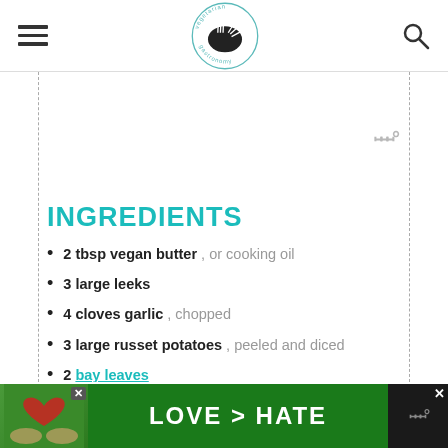vegetarian gastronomy (logo)
INGREDIENTS
2 tbsp vegan butter , or cooking oil
3 large leeks
4 cloves garlic , chopped
3 large russet potatoes , peeled and diced
2 bay leaves
5 cup vegetable broth , + more if needed to
[Figure (infographic): Advertisement banner reading LOVE > HATE with hands forming a heart shape]